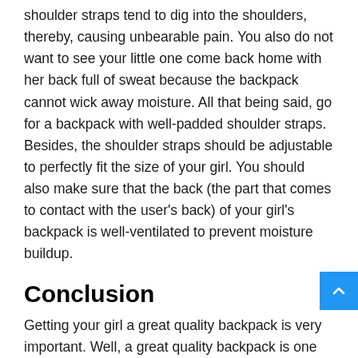shoulder straps tend to dig into the shoulders, thereby, causing unbearable pain. You also do not want to see your little one come back home with her back full of sweat because the backpack cannot wick away moisture. All that being said, go for a backpack with well-padded shoulder straps. Besides, the shoulder straps should be adjustable to perfectly fit the size of your girl. You should also make sure that the back (the part that comes to contact with the user's back) of your girl's backpack is well-ventilated to prevent moisture buildup.
Conclusion
Getting your girl a great quality backpack is very important. Well, a great quality backpack is one made of durable materials that are more than capable of standing up to abuse and everyday use. Such a backpack also has a